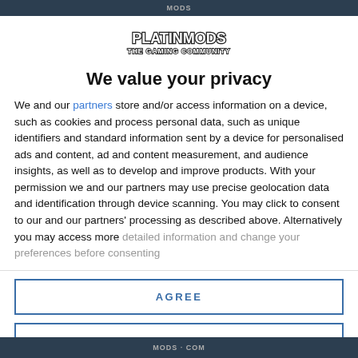MODS
[Figure (logo): PLATINMODS THE GAMING COMMUNITY logo in bold stylized text]
We value your privacy
We and our partners store and/or access information on a device, such as cookies and process personal data, such as unique identifiers and standard information sent by a device for personalised ads and content, ad and content measurement, and audience insights, as well as to develop and improve products. With your permission we and our partners may use precise geolocation data and identification through device scanning. You may click to consent to our and our partners' processing as described above. Alternatively you may access more detailed information and change your preferences before consenting
AGREE
MORE OPTIONS
MODS · COM